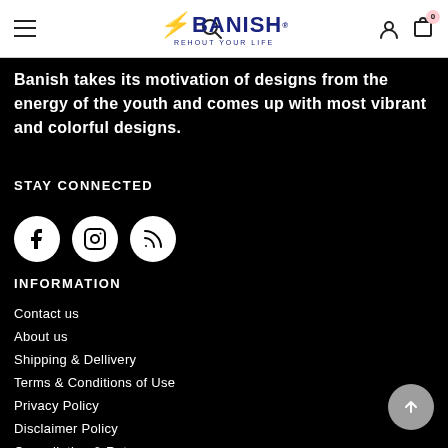Banish — Rehout Your Life (navigation header with hamburger, search, logo, account, cart)
Banish takes its motivation of designs from the energy of the youth and comes up with most vibrant and colorful designs.
STAY CONNECTED
[Figure (infographic): Three white circular social media icons: Facebook, Instagram, RSS feed]
INFORMATION
Contact us
About us
Shipping & Dellivery
Terms & Conditions of Use
Privacy Policy
Disclaimer Policy
Cancellation & Return
Stores